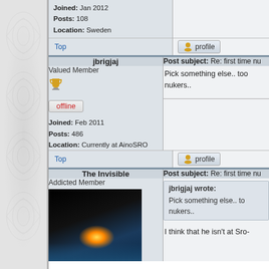[Figure (screenshot): Forum page showing user posts. Left sidebar with decorative pattern. Main content shows forum posts from users jbrigjaj and The Invisible with post subjects, user info, and profile buttons.]
Joined: Jan 2012
Posts: 108
Location: Sweden
Top
profile
jbrigjaj
Post subject: Re: first time nu
Valued Member
offline
Joined: Feb 2011
Posts: 486
Location: Currently at AinoSRO
Pick something else.. too
nukers..
Top
profile
The Invisible
Post subject: Re: first time nu
Addicted Member
jbrigjaj wrote:
Pick something else.. to
nukers..
I think that he isn't at Sro-